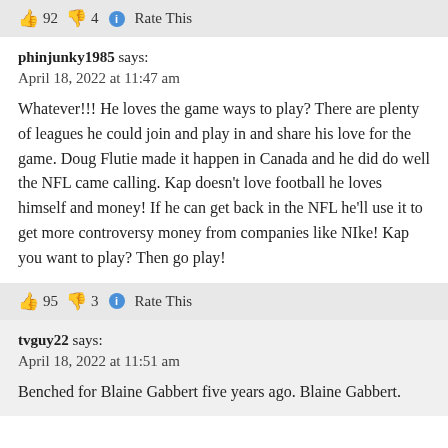👍 92 👎 4 ℹ Rate This
phinjunky1985 says:
April 18, 2022 at 11:47 am
Whatever!!! He loves the game ways to play? There are plenty of leagues he could join and play in and share his love for the game. Doug Flutie made it happen in Canada and he did do well the NFL came calling. Kap doesn't love football he loves himself and money! If he can get back in the NFL he'll use it to get more controversy money from companies like NIke! Kap you want to play? Then go play!
👍 95 👎 3 ℹ Rate This
tvguy22 says:
April 18, 2022 at 11:51 am
Benched for Blaine Gabbert five years ago. Blaine Gabbert.